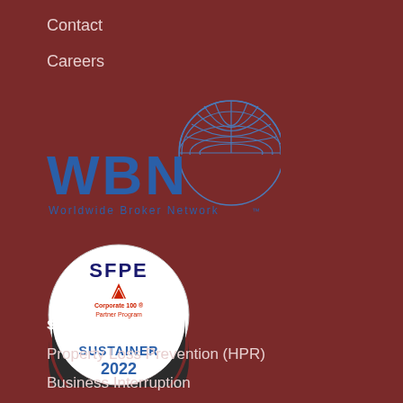Contact
Careers
[Figure (logo): WBN Worldwide Broker Network logo with globe graphic above the WBN text and tagline 'Worldwide Broker Network™']
[Figure (logo): SFPE Corporate 100 Partner Program badge - PROUD PARTNER SUSTAINER 2022]
SERVICES
Property Loss Prevention (HPR)
Business Interruption